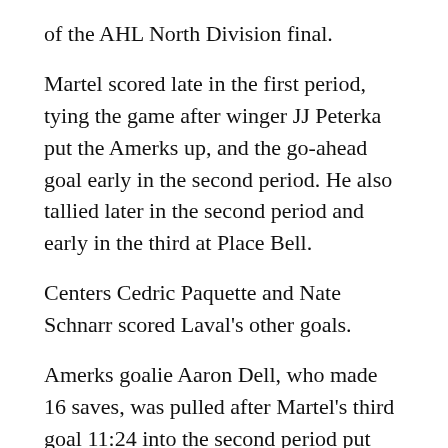of the AHL North Division final.
Martel scored late in the first period, tying the game after winger JJ Peterka put the Amerks up, and the go-ahead goal early in the second period. He also tallied later in the second period and early in the third at Place Bell.
Centers Cedric Paquette and Nate Schnarr scored Laval's other goals.
Amerks goalie Aaron Dell, who made 16 saves, was pulled after Martel's third goal 11:24 into the second period put Laval up 4-1. Michael Houser replaced Dell, stopping 16 of the 18 shots he faced.
Laval goalie Cayden Primeau made 31 stops.